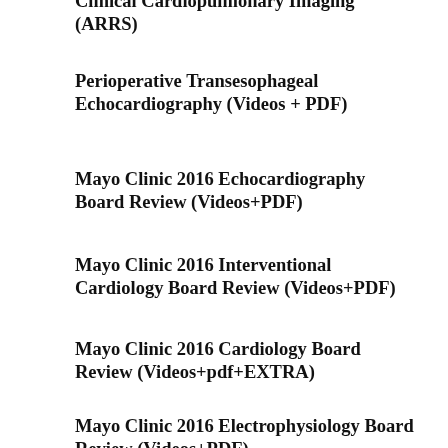Clinical Cardiopulmonary Imaging (ARRS)
Perioperative Transesophageal Echocardiography (Videos + PDF)
Mayo Clinic 2016 Echocardiography Board Review (Videos+PDF)
Mayo Clinic 2016 Interventional Cardiology Board Review (Videos+PDF)
Mayo Clinic 2016 Cardiology Board Review (Videos+pdf+EXTRA)
Mayo Clinic 2016 Electrophysiology Board Review (Videos+PDF)